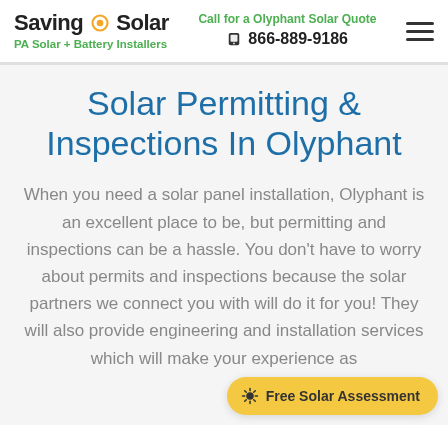SavingOnSolar — PA Solar + Battery Installers | Call for a Olyphant Solar Quote 866-889-9186
Solar Permitting & Inspections In Olyphant
When you need a solar panel installation, Olyphant is an excellent place to be, but permitting and inspections can be a hassle. You don't have to worry about permits and inspections because the solar partners we connect you with will do it for you! They will also provide engineering and installation services which will make your experience as
Free Solar Assessment